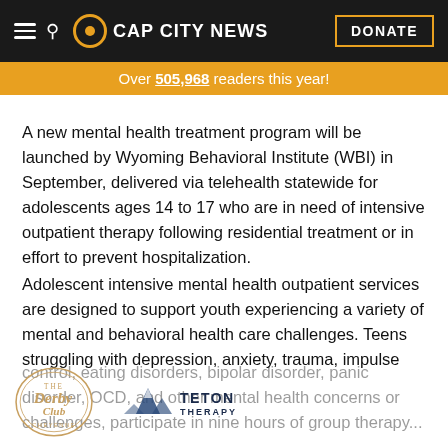CAP CITY NEWS | DONATE
Over 505,968 readers this year!
A new mental health treatment program will be launched by Wyoming Behavioral Institute (WBI) in September, delivered via telehealth statewide for adolescents ages 14 to 17 who are in need of intensive outpatient therapy following residential treatment or in effort to prevent hospitalization.
Adolescent intensive mental health outpatient services are designed to support youth experiencing a variety of mental and behavioral health care challenges. Teens struggling with depression, anxiety, trauma, impulse control, eating disorders, bipolar disorder, panic disorder, OCD, and other mental health concerns or challenges, participate in nine hours of group therapy...
[Figure (logo): Derby Club logo - circular badge style logo with script text]
[Figure (logo): Teton Therapy logo - mountain silhouette with TETON THERAPY text]